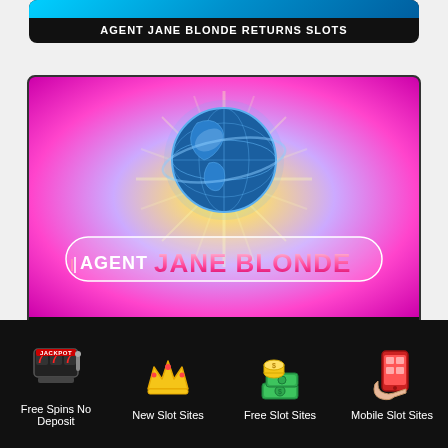[Figure (screenshot): Top of Agent Jane Blonde Returns Slots card, showing the top edge of a cyan/blue gradient game thumbnail]
AGENT JANE BLONDE RETURNS SLOTS
[Figure (illustration): Agent Jane Blonde Slots game card. Purple/pink/magenta gradient background with yellow starburst, blue wireframe globe, and 'AGENT JANE BLONDE' chrome text logo]
AGENT JANE BLONDE SLOTS
[Figure (screenshot): Top edge of a teal/cyan gradient game thumbnail card]
[Figure (infographic): Navigation footer bar with four icons: jackpot/slots icon for Free Spins No Deposit, crown for New Slot Sites, money/coins for Free Slot Sites, mobile phone for Mobile Slot Sites]
Free Spins No Deposit
New Slot Sites
Free Slot Sites
Mobile Slot Sites